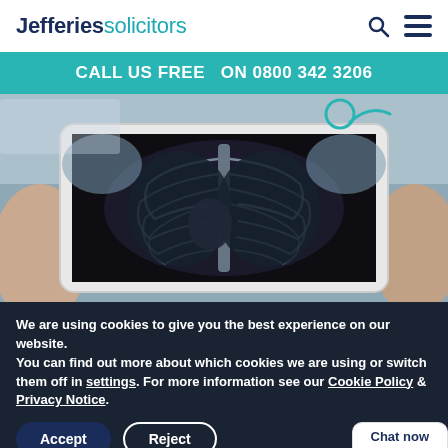Jefferies solicitors
CALL US FREE  ON 0800 342 3206
[Figure (photo): Hands holding a tablet displaying a chest X-ray image, with a stethoscope visible in the background on a desk.]
We are using cookies to give you the best experience on our website.
You can find out more about which cookies we are using or switch them off in settings. For more information see our Cookie Policy & Privacy Notice.
Accept   Reject
Chat now